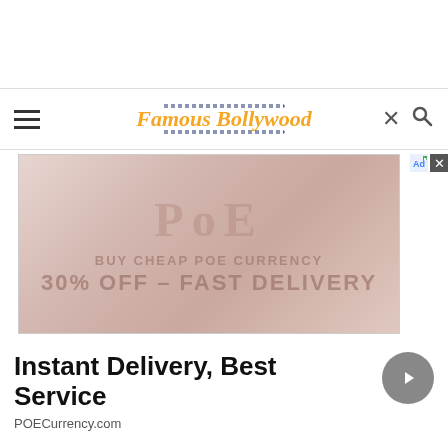[Figure (screenshot): Famous Bollywood website navigation bar with hamburger menu on left, site logo in center reading 'Famous Bollywood' in italic gold with navy dotted borders, close X icon and search icon on right]
[Figure (photo): Advertisement banner for POECurrency.com showing 'BUY CHEAP POE CURRENCY' and '30% OFF - FAST DELIVERY' text overlay on a faded fantasy game image]
Instant Delivery, Best Service
POECurrency.com